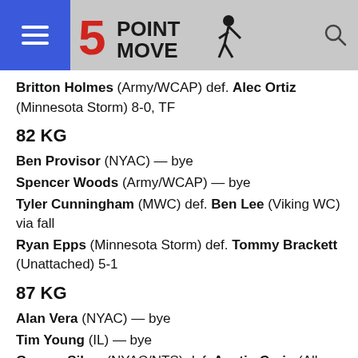5 Point Move — navigation header
Britton Holmes (Army/WCAP) def. Alec Ortiz (Minnesota Storm) 8-0, TF
82 KG
Ben Provisor (NYAC) — bye
Spencer Woods (Army/WCAP) — bye
Tyler Cunningham (MWC) def. Ben Lee (Viking WC) via fall
Ryan Epps (Minnesota Storm) def. Tommy Brackett (Unattached) 5-1
87 KG
Alan Vera (NYAC) — bye
Tim Young (IL) — bye
George Sikes (NYAC/NTS) def. Austin Craig (All-Navy) 4-0
Christian DuLaney (Minnesota Storm) def. Tyler …